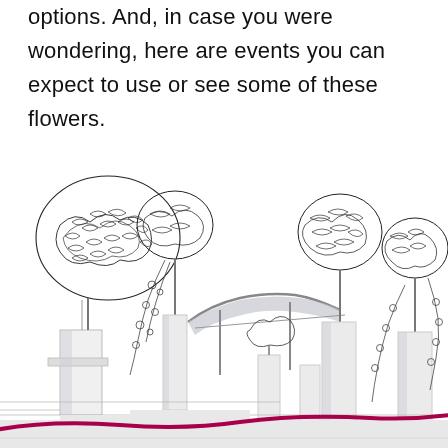options. And, in case you were wondering, here are events you can expect to use or see some of these flowers.
[Figure (illustration): A hand-drawn sketch illustration showing an event venue or ceremony space with tall cylindrical pedestals/vases holding trees and trailing floral arrangements, an arch or pergola structure in the center, and a curved magenta/dark pink ribbon or line running along the bottom. The style is a line-drawing with light grey shading accents.]